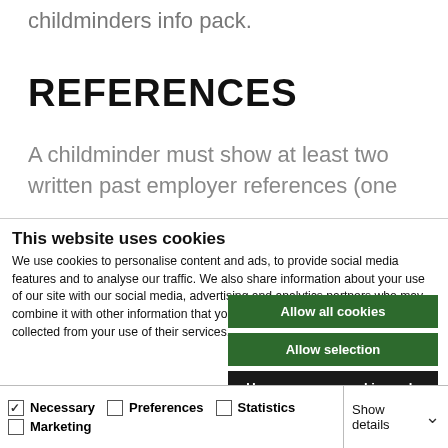childminders info pack.
REFERENCES
A childminder must show at least two written past employer references (one
This website uses cookies
We use cookies to personalise content and ads, to provide social media features and to analyse our traffic. We also share information about your use of our site with our social media, advertising and analytics partners who may combine it with other information that you've provided to them or that they've collected from your use of their services.
Allow all cookies
Allow selection
Use necessary cookies only
Necessary  Preferences  Statistics  Marketing  Show details